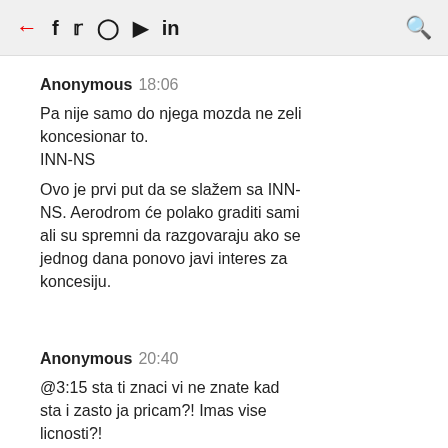← f 𝐲 ⊙ ▶ in 🔍
Anonymous 18:06
Pa nije samo do njega mozda ne zeli koncesionar to.
INN-NS

Ovo je prvi put da se slažem sa INN-NS. Aerodrom će polako graditi sami ali su spremni da razgovaraju ako se jednog dana ponovo javi interes za koncesiju.
Anonymous 20:40
@3:15 sta ti znaci vi ne znate kad sta i zasto ja pricam?! Imas vise licnosti?!